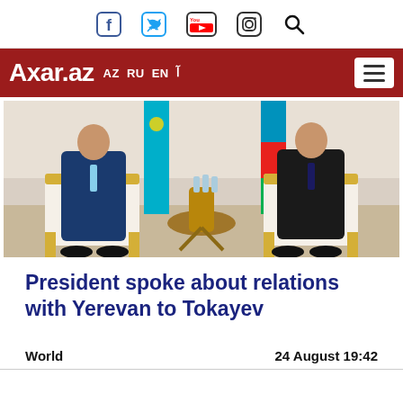Axar.az — AZ RU EN (Arabic)
[Figure (photo): Two men in suits seated in white and gold chairs facing each other across a small round table with water bottles. Kazakhstan flag and Azerbaijan flag visible in background.]
President spoke about relations with Yerevan to Tokayev
World    24 August 19:42